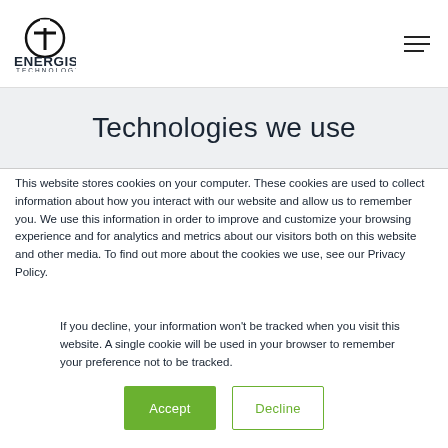[Figure (logo): Energise Technology logo: circular icon with a 'T' shape inside, above bold text ENERGISE in large caps and TECHNOLOGY in smaller caps]
Technologies we use
This website stores cookies on your computer. These cookies are used to collect information about how you interact with our website and allow us to remember you. We use this information in order to improve and customize your browsing experience and for analytics and metrics about our visitors both on this website and other media. To find out more about the cookies we use, see our Privacy Policy.
If you decline, your information won't be tracked when you visit this website. A single cookie will be used in your browser to remember your preference not to be tracked.
Accept  Decline